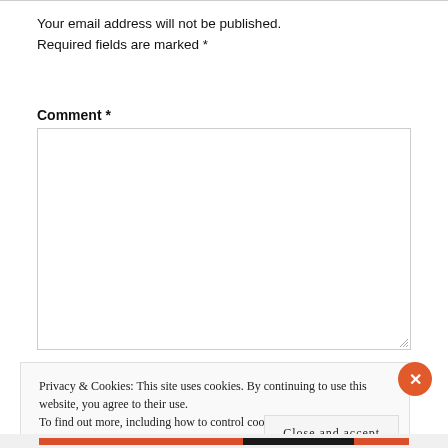Your email address will not be published. Required fields are marked *
Comment *
[Figure (other): Empty comment textarea input box with resize handle]
Privacy & Cookies: This site uses cookies. By continuing to use this website, you agree to their use.
To find out more, including how to control cookies, see here: Cookie Policy
Close and accept